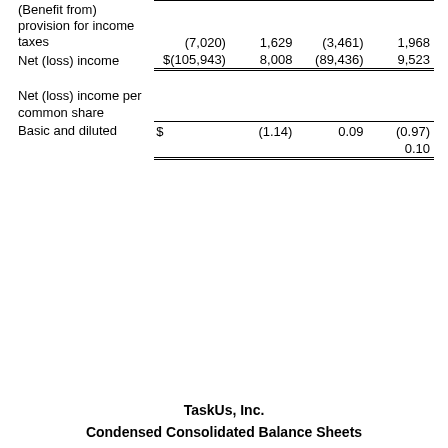|  |  |  |  |  |
| --- | --- | --- | --- | --- |
| (Benefit from) provision for income taxes | (7,020) | 1,629 | (3,461) | 1,968 |
| Net (loss) income | $(105,943) | 8,008 | (89,436) | 9,523 |
| Net (loss) income per common share |  |  |  |  |
| Basic and diluted | $ | (1.14) | 0.09 | (0.97) | 0.10 |
TaskUs, Inc.
Condensed Consolidated Balance Sheets